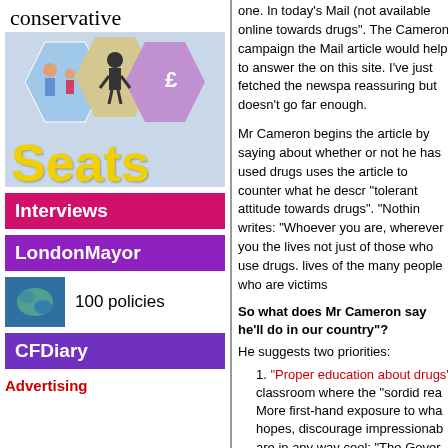conservative
[Figure (illustration): Conservative Seats banner image with colorful illustrated diamonds/shields showing people, road signs, and a money symbol, with the word 'Seats' in large yellow text at bottom]
Interviews
LondonMayor
[Figure (photo): Small thumbnail photo with blue-green tones, associated with '100 policies']
100 policies
CFDiary
Advertising
one.  In today's Mail (not available online) towards drugs".  The Cameron campaign the Mail article would help to answer the on this site.  I've just fetched the newspa reassuring but doesn't go far enough.
Mr Cameron begins the article by saying about whether or not he has used drugs uses the article to counter what he descr "tolerant attitude towards drugs".  "Nothin writes: "Whoever you are, wherever you the lives not just of those who use drugs. lives of the many people who are victims
So what does Mr Cameron say he'll do in our country"?
He suggests two priorities:
1. "Proper education about drugs" classroom where the "sordid rea More first-hand exposure to wha hopes, discourage impressionab are in any way cool: "The Gover campaign sends mixed messag